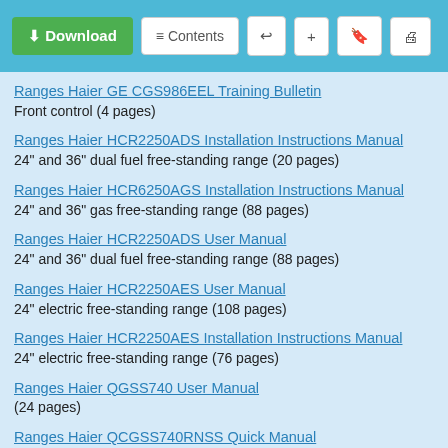Toolbar with Download, Contents, Share, Add, Bookmark, Print buttons
Ranges Haier GE CGS986EEL Training Bulletin
Front control (4 pages)
Ranges Haier HCR2250ADS Installation Instructions Manual
24" and 36" dual fuel free-standing range (20 pages)
Ranges Haier HCR6250AGS Installation Instructions Manual
24" and 36" gas free-standing range (88 pages)
Ranges Haier HCR2250ADS User Manual
24" and 36" dual fuel free-standing range (88 pages)
Ranges Haier HCR2250AES User Manual
24" electric free-standing range (108 pages)
Ranges Haier HCR2250AES Installation Instructions Manual
24" electric free-standing range (76 pages)
Ranges Haier QGSS740 User Manual
(24 pages)
Ranges Haier QCGSS740RNSS Quick Manual
(17 pages)
Ranges Haier CHER203AAWW User Manual